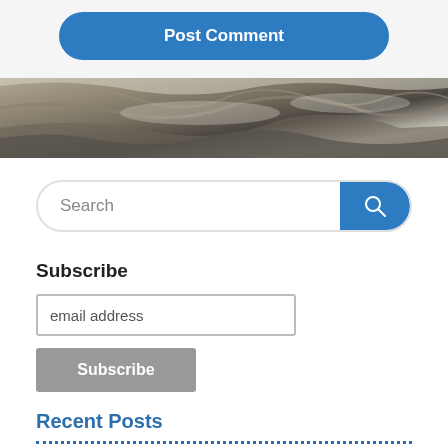Post Comment
[Figure (photo): Rock/stone texture photograph used as a banner image]
Search
Subscribe
email address
Subscribe
Recent Posts
Butterfly Report – December 2021